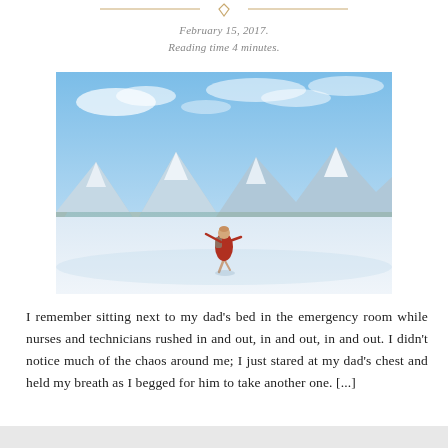[Figure (other): Decorative header element: two horizontal gold lines with a small heart/diamond shape in the center, centered at top of page]
February 15, 2017.
Reading time 4 minutes.
[Figure (photo): A woman in a red dress and backpack dancing or spinning on a snowy frozen lake with snow-covered mountains and a blue sky in the background]
I remember sitting next to my dad's bed in the emergency room while nurses and technicians rushed in and out, in and out, in and out. I didn't notice much of the chaos around me; I just stared at my dad's chest and held my breath as I begged for him to take another one. [...]